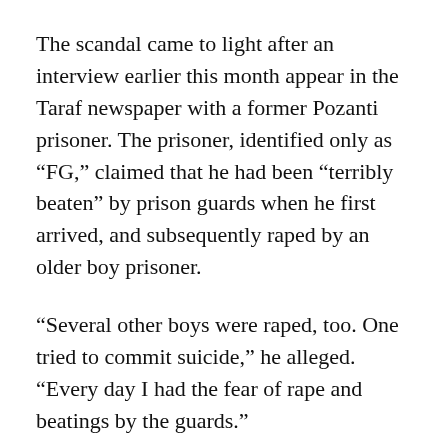The scandal came to light after an interview earlier this month appear in the Taraf newspaper with a former Pozanti prisoner. The prisoner, identified only as “FG,” claimed that he had been “terribly beaten” by prison guards when he first arrived, and subsequently raped by an older boy prisoner.
“Several other boys were raped, too. One tried to commit suicide,” he alleged. “Every day I had the fear of rape and beatings by the guards.”
Kürkçü̈ believes that similar patterns of abuse can be found across Turkey’s southeastern Mediterranean region, where considerable